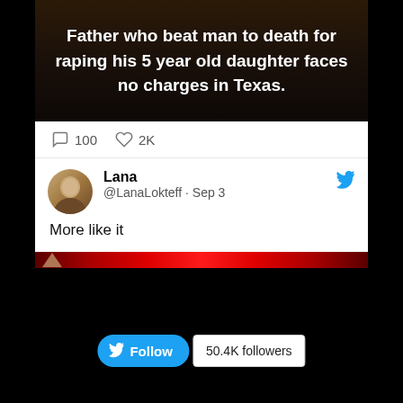[Figure (screenshot): Screenshot of a tweet showing a news headline about a father who beat a man to death for raping his 5 year old daughter facing no charges in Texas, with 100 comments and 2K likes, and a reply from @LanaLokteff saying 'More like it', along with a Follow button showing 50.4K followers.]
Father who beat man to death for raping his 5 year old daughter faces no charges in Texas.
100  2K
Lana
@LanaLokteff · Sep 3
More like it
Follow  50.4K followers